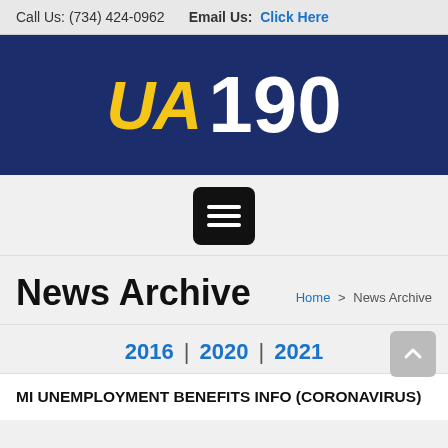Call Us: (734) 424-0962   Email Us: Click Here
[Figure (logo): UA 190 union logo on dark navy background with yellow UA and white 190 text]
[Figure (other): Black rounded square menu/hamburger button with three white lines]
News Archive
Home > News Archive
2016 | 2020 | 2021
MI UNEMPLOYMENT BENEFITS INFO (CORONAVIRUS)